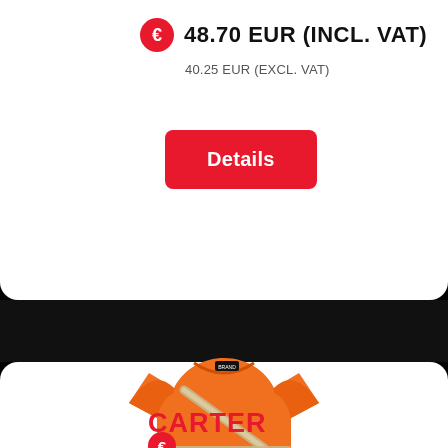€ 48.70 EUR (INCL. VAT)
40.25 EUR (EXCL. VAT)
Details
[Figure (photo): Orange high-visibility safety t-shirt with reflective silver stripes across chest and diagonal shoulder stripe]
CARTER